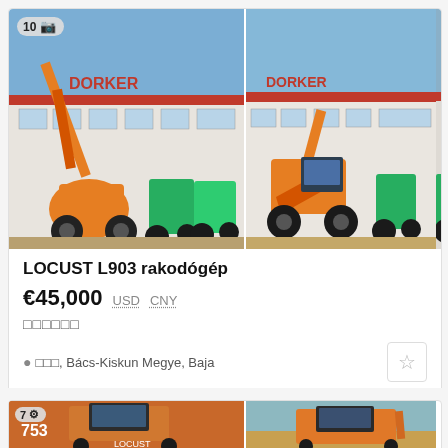[Figure (photo): LOCUST L903 loader machine in front of Dorker building with green tractors, showing count badge '10' with camera icon]
[Figure (photo): Second view of LOCUST L903 loader with bucket raised, in front of Dorker building]
LOCUST L903 rakodógép
€45,000  USD  CNY
□□□□□□
□□□, Bács-Kiskun Megye, Baja
[Figure (photo): Partial view of LOCUST 753 skid steer loader in orange, with photo count badge '7']
[Figure (photo): Partial view of another LOCUST loader in orange]